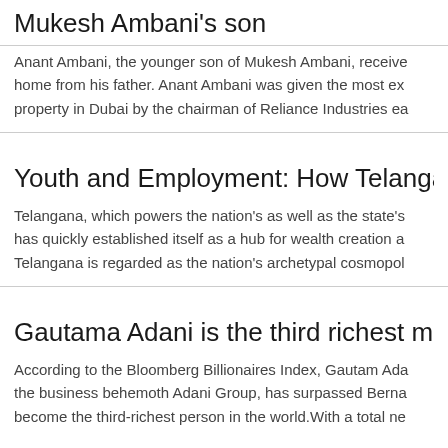Mukesh Ambani's son
Anant Ambani, the younger son of Mukesh Ambani, received a lavish home from his father. Anant Ambani was given the most expensive property in Dubai by the chairman of Reliance Industries ea
Youth and Employment: How Telangana conq
Telangana, which powers the nation's as well as the state's economy, has quickly established itself as a hub for wealth creation a Telangana is regarded as the nation's archetypal cosmopol
Gautama Adani is the third richest man in the
According to the Bloomberg Billionaires Index, Gautam Ada the business behemoth Adani Group, has surpassed Berna become the third-richest person in the world.With a total ne